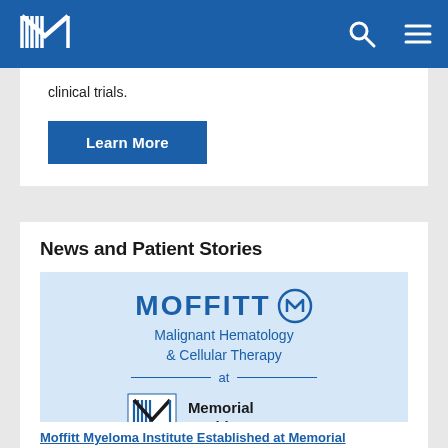Moffitt Cancer Center — Navigation bar
clinical trials.
Learn More
News and Patient Stories
[Figure (logo): Moffitt Malignant Hematology & Cellular Therapy at Memorial Healthcare System logo on light blue background]
Moffitt Myeloma Institute Established at Memorial